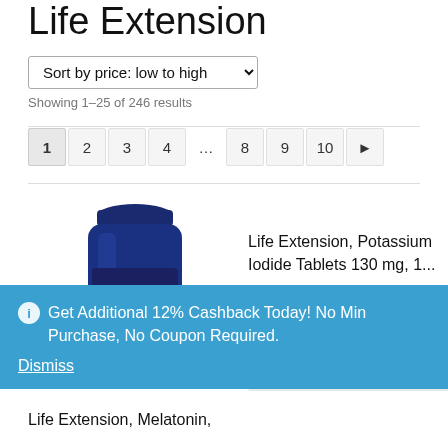Life Extension
Sort by price: low to high
Showing 1–25 of 246 results
1 2 3 4 ... 8 9 10 ▶
[Figure (photo): Dark blue glass supplement bottle with cap]
Life Extension, Potassium Iodide Tablets 130 mg, 1...
Add to cart
Get Additional 12% Cashback Today! No Min Purchase, No Coupon Required. Dismiss
Life Extension, Melatonin,